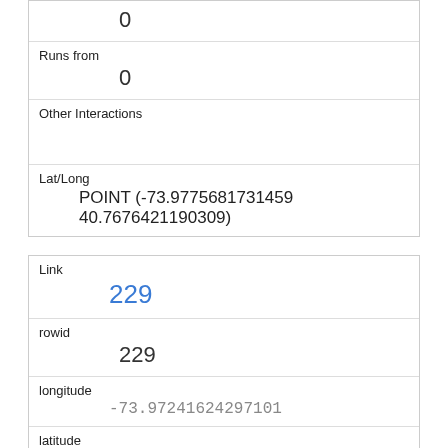|  | 0 |
| Runs from | 0 |
| Other Interactions |  |
| Lat/Long | POINT (-73.9775681731459 40.7676421190309) |
| Link | 229 |
| rowid | 229 |
| longitude | -73.97241624297101 |
| latitude | 40.7714260236636 |
| Unique Squirrel ID | 8F-PM-1012-04 |
| Hectare | 08F |